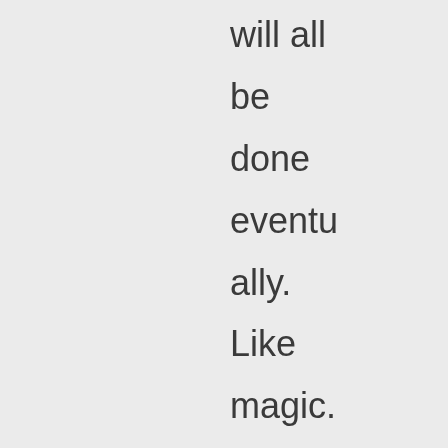day it will all be done eventually. Like magic. We are not basking in the sun though we